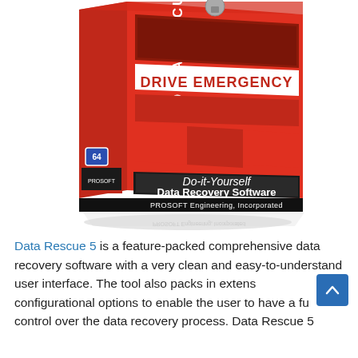[Figure (illustration): Product box image for Data Rescue 5 / Drive Emergency software by PROSOFT Engineering, Incorporated. Red box with white and dark accents, reading 'DATA RESCUE' vertically on spine, 'DRIVE EMERGENCY' on front panel, 'Do-it-Yourself Data Recovery Software' on lower front, and 'PROSOFT Engineering, Incorporated' on bottom strip. Box has a reflection beneath it.]
Data Rescue 5 is a feature-packed comprehensive data recovery software with a very clean and easy-to-understand user interface. The tool also packs in extensive configurational options to enable the user to have a full control over the data recovery process. Data Rescue 5